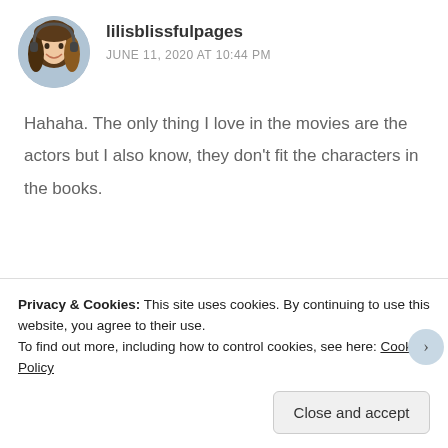lilisblissfulpages
JUNE 11, 2020 AT 10:44 PM
Hahaha. The only thing I love in the movies are the actors but I also know, they don’t fit the characters in the books.
★ Liked by 1 person
Reply
Privacy & Cookies: This site uses cookies. By continuing to use this website, you agree to their use.
To find out more, including how to control cookies, see here: Cookie Policy
Close and accept